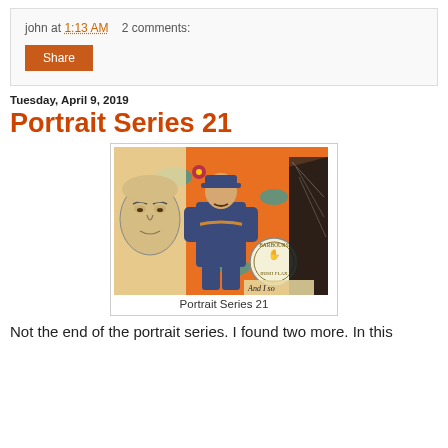john at 1:13 AM    2 comments:
Share
Tuesday, April 9, 2019
Portrait Series 21
[Figure (illustration): Collage artwork showing a portrait of a bald man's face on the left, a soldier in uniform with a mustache in the center against a orange floral background, a circular stamp reading 'BARBOURS IRISH FLAX' with a hand logo, and a dark figure on the right. Text at bottom reads 'And I so'.]
Portrait Series 21
Not the end of the portrait series.  I found two more.  In this